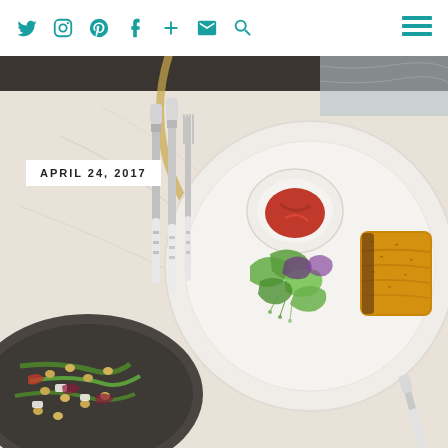Social icons: Twitter, Instagram, Pinterest, Facebook, Plus, Email, Search | Hamburger menu
[Figure (photo): Overhead view of a restaurant table with a white plate containing a sausage roll, mixed green salad and a small bowl of tomato sauce/chutney, alongside silverware (two knives and a fork), and a dark bowl of a grain and vegetable salad in the lower left.]
APRIL 24, 2017